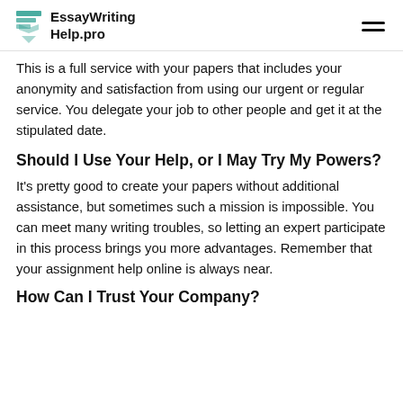EssayWritingHelp.pro
This is a full service with your papers that includes your anonymity and satisfaction from using our urgent or regular service. You delegate your job to other people and get it at the stipulated date.
Should I Use Your Help, or I May Try My Powers?
It's pretty good to create your papers without additional assistance, but sometimes such a mission is impossible. You can meet many writing troubles, so letting an expert participate in this process brings you more advantages. Remember that your assignment help online is always near.
How Can I Trust Your Company?